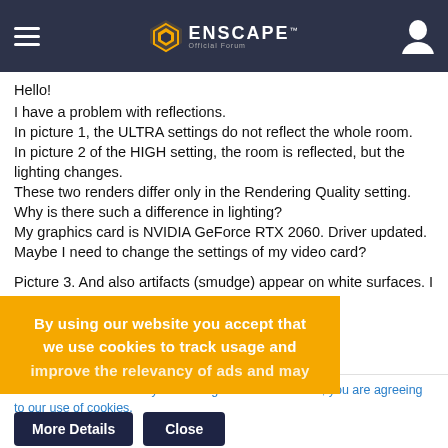Enscape Official Forum
Hello!
I have a problem with reflections.
In picture 1, the ULTRA settings do not reflect the whole room.
In picture 2 of the HIGH setting, the room is reflected, but the lighting changes.
These two renders differ only in the Rendering Quality setting.
Why is there such a difference in lighting?
My graphics card is NVIDIA GeForce RTX 2060. Driver updated.
Maybe I need to change the settings of my video card?

Picture 3. And also artifacts (smudge) appear on white surfaces. I cannot remove them.
[Figure (other): Orange cookie consent overlay banner with text: By using our website you accept that we use cookies to track usage and improve the relevancy of ads and may...]
This site uses cookies. By continuing to browse this site, you are agreeing to our use of cookies.
More Details  Close